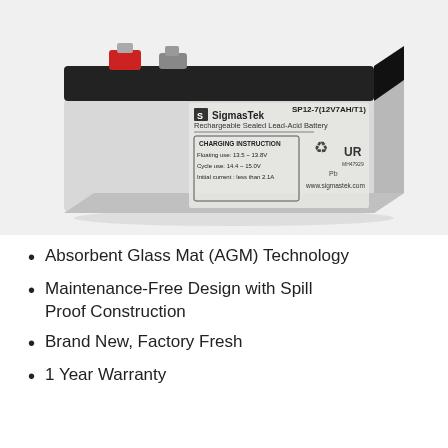[Figure (photo): SigmasTek SP12-7 (12V7AH/T1) Rechargeable Sealed Lead-Acid Battery. Gray rectangular battery with black top, red and gray terminals, and label showing charging instructions (Floating use 13.5-13.8V, Cycle use 14.4-15.0V, Initial current less than 2.1A), recycling and UL certification symbols, and www.sigmastek.com website.]
Absorbent Glass Mat (AGM) Technology
Maintenance-Free Design with Spill Proof Construction
Brand New, Factory Fresh
1 Year Warranty